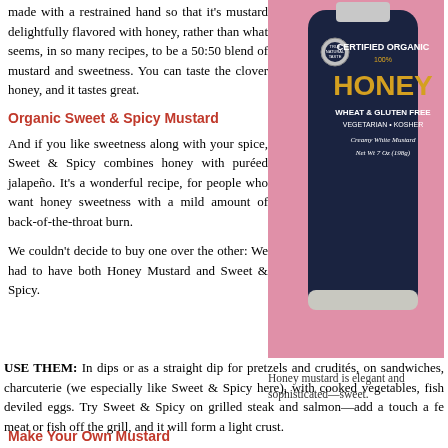made with a restrained hand so that it's mustard delightfully flavored with honey, rather than what seems, in so many recipes, to be a 50:50 blend of mustard and sweetness. You can taste the clover honey, and it tastes great.
Organic Sweet & Spicy Mustard
And if you like sweetness along with your spice, Sweet & Spicy combines honey with puréed jalapeño. It's a wonderful recipe, for people who want honey sweetness with a mild amount of back-of-the-throat burn.
We couldn't decide to buy one over the other: We had to have both Honey Mustard and Sweet & Spicy.
[Figure (photo): A dark bottle of True Natural Taste Certified Organic 100% Honey, Wheat & Gluten Free, Vegetarian, Kosher, Creamy White Mustard, Net Wt 7 oz (198g), against a pink background.]
Honey mustard is elegant and sophisticated—sweet.
USE THEM: In dips or as a straight dip for pretzels and crudités, on sandwiches, charcuterie (we especially like Sweet & Spicy here), with cooked vegetables, fish deviled eggs. Try Sweet & Spicy on grilled steak and salmon—add a touch a fe meat or fish off the grill, and it will form a light crust.
Make Your Own Mustard
You can make your own mustard at home, just like the Sumerians and Romans. T if you have a spice grinder, it's quite a bit easier. Try it or fun and make only what or other favorite seasonings, and keep it in a jar in the refrigerator. See how m freshly-ground mustard seeds.